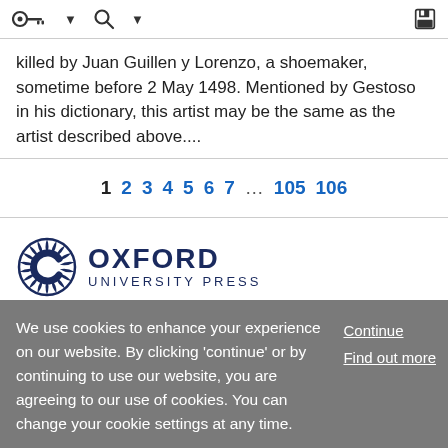Toolbar with navigation and search icons
killed by Juan Guillen y Lorenzo, a shoemaker, sometime before 2 May 1498. Mentioned by Gestoso in his dictionary, this artist may be the same as the artist described above....
1 2 3 4 5 6 7 ... 105 106
[Figure (logo): Oxford University Press logo with circular O and text OXFORD UNIVERSITY PRESS]
We use cookies to enhance your experience on our website. By clicking 'continue' or by continuing to use our website, you are agreeing to our use of cookies. You can change your cookie settings at any time.